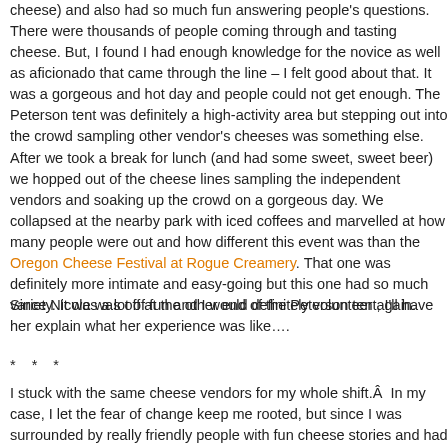cheese) and also had so much fun answering people's questions. There were thousands of people coming through and tasting cheese. But, I found I had enough knowledge for the novice as well as aficionado that came through the line – I felt good about that. It was a gorgeous and hot day and people could not get enough. The Peterson tent was definitely a high-activity area but stepping out into the crowd sampling other vendor's cheeses was something else.
After we took a break for lunch (and had some sweet, sweet beer) we hopped out of the cheese lines sampling the independent vendors and soaking up the crowd on a gorgeous day. We collapsed at the nearby park with iced coffees and marvelled at how many people were out and how different this event was than the Oregon Cheese Festival at Rogue Creamery. That one was definitely more intimate and easy-going but this one had so much variety. It was a lot of fun and I would definitely volunteer again.
Since Nicole was off at the other end of the Peterson tent, I'll have her explain what her experience was like….
* * *
I stuck with the same cheese vendors for my whole shift.Â  In my case, I let the fear of change keep me rooted, but since I was surrounded by really friendly people with fun cheese stories and had finally mastered the math/tally system I'm pretty content with my choice.Â  I was on the other end of the booth from Amanda with quite a variety of cheeses.Â  Our selection ran the gamut from a selection of soft chevre cheeses to a selection of Italian aged cheeses.Â  It was amusing to me that the two most p…